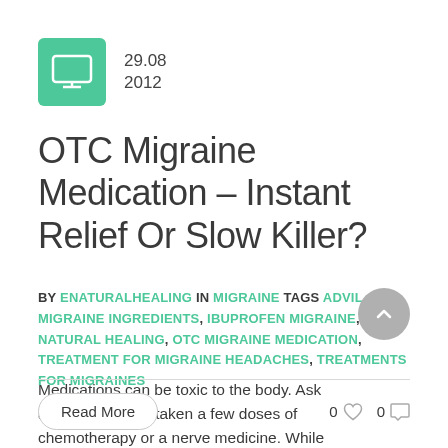[Figure (logo): Green square icon with a computer monitor/display symbol in white]
29.08
2012
OTC Migraine Medication – Instant Relief Or Slow Killer?
BY ENATURALHEALING IN MIGRAINE TAGS ADVIL MIGRAINE INGREDIENTS, IBUPROFEN MIGRAINE, NATURAL HEALING, OTC MIGRAINE MEDICATION, TREATMENT FOR MIGRAINE HEADACHES, TREATMENTS FOR MIGRAINES
Medications can be toxic to the body. Ask anyone who has taken a few doses of chemotherapy or a nerve medicine. While it is true...
Read More
0  0